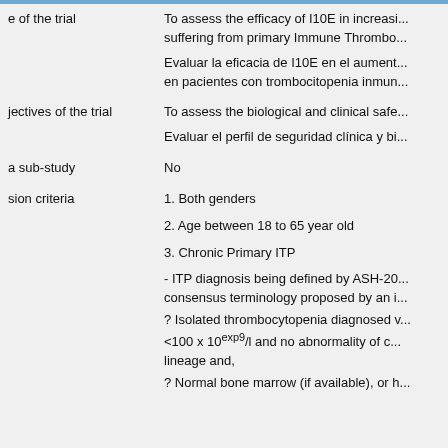| Field | Value |
| --- | --- |
| e of the trial | To assess the efficacy of I10E in increasi... suffering from primary Immune Thrombo...
Evaluar la eficacia de I10E en el aument... en pacientes con trombocitopenia inmun... |
| jectives of the trial | To assess the biological and clinical safe...
Evaluar el perfil de seguridad clínica y bi... |
| a sub-study | No |
| sion criteria | 1. Both genders
2. Age between 18 to 65 year old
3. Chronic Primary ITP
- ITP diagnosis being defined by ASH-20... consensus terminology proposed by an i...
? Isolated thrombocytopenia diagnosed v... <100 x 10exp9/l and no abnormality of c... lineage and,
? Normal bone marrow (if available), or h... |